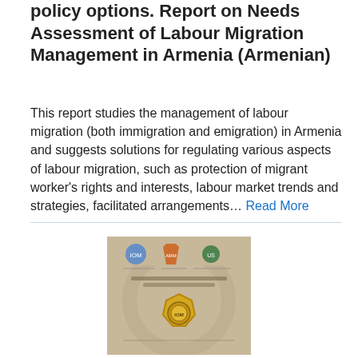policy options. Report on Needs Assessment of Labour Migration Management in Armenia (Armenian)
This report studies the management of labour migration (both immigration and emigration) in Armenia and suggests solutions for regulating various aspects of labour migration, such as protection of migrant worker's rights and interests, labour market trends and strategies, facilitated arrangements... Read More
[Figure (photo): Book cover of the Report on Needs Assessment of Labour Migration Management in Armenia, showing three logos at the top and a central golden emblem/seal on a tan/beige background with Armenian text.]